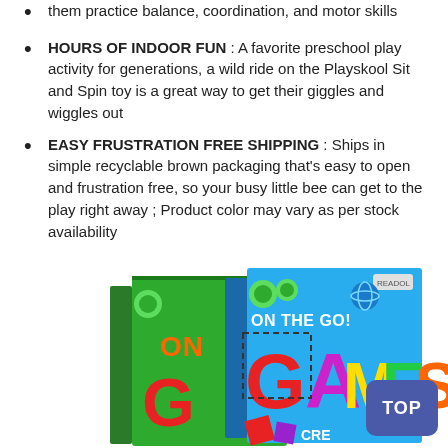them practice balance, coordination, and motor skills
HOURS OF INDOOR FUN : A favorite preschool play activity for generations, a wild ride on the Playskool Sit and Spin toy is a great way to get their giggles and wiggles out
EASY FRUSTRATION FREE SHIPPING : Ships in simple recyclable brown packaging that's easy to open and frustration free, so your busy little bee can get to the play right away ; Product color may vary as per stock availability
[Figure (photo): Two colorful children's books titled 'ON THE GO GAMES', one with a green cover and one with a blue cover featuring large colorful letters spelling GAMES, with a dark blue rounded rectangle TOP button in the bottom right corner.]